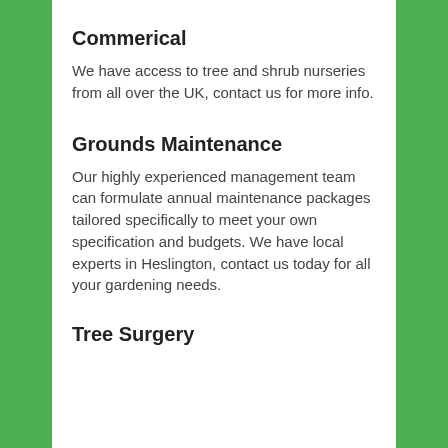Commerical
We have access to tree and shrub nurseries from all over the UK, contact us for more info.
Grounds Maintenance
Our highly experienced management team can formulate annual maintenance packages tailored specifically to meet your own specification and budgets. We have local experts in Heslington, contact us today for all your gardening needs.
Tree Surgery